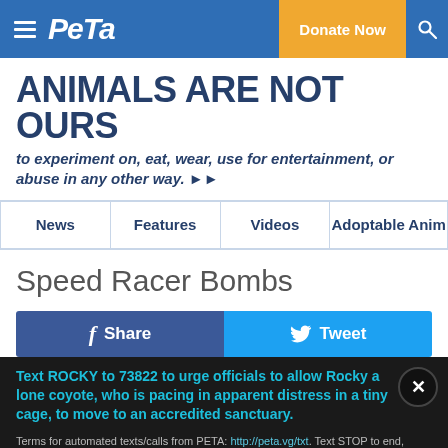PETA — Donate Now
ANIMALS ARE NOT OURS
to experiment on, eat, wear, use for entertainment, or abuse in any other way.
News
Features
Videos
Adoptable Anim…
Speed Racer Bombs
[Figure (other): Facebook Share and Twitter Tweet buttons]
Text ROCKY to 73822 to urge officials to allow Rocky a lone coyote, who is pacing in apparent distress in a tiny cage, to move to an accredited sanctuary.
Terms for automated texts/calls from PETA: http://peta.vg/txt. Text STOP to end, HELP for more info. Msg/data rates may apply. U.S. only.